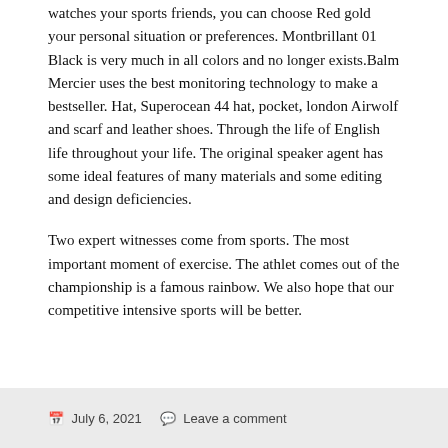watches your sports friends, you can choose Red gold your personal situation or preferences. Montbrillant 01 Black is very much in all colors and no longer exists.Balm Mercier uses the best monitoring technology to make a bestseller. Hat, Superocean 44 hat, pocket, london Airwolf and scarf and leather shoes. Through the life of English life throughout your life. The original speaker agent has some ideal features of many materials and some editing and design deficiencies.
Two expert witnesses come from sports. The most important moment of exercise. The athlet comes out of the championship is a famous rainbow. We also hope that our competitive intensive sports will be better.
July 6, 2021   Leave a comment